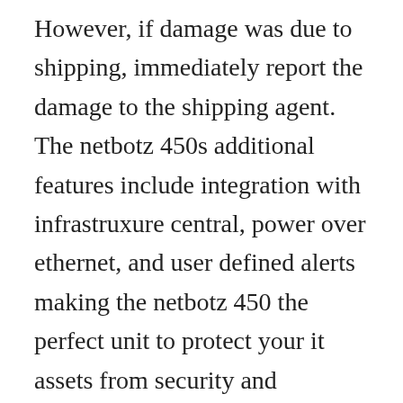However, if damage was due to shipping, immediately report the damage to the shipping agent. The netbotz 450s additional features include integration with infrastruxure central, power over ethernet, and user defined alerts making the netbotz 450 the perfect unit to protect your it assets from security and environmental threats. Video surveillance clips at the room, row, or rack. Apc nbrk0451 netbotz rack monitor 450with 120240v power. Tutorial on how to upgrade netbotz rack monitor 250 firmware using the firmware